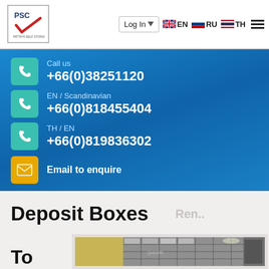[Figure (logo): PSC logo with red checkmark in bordered box]
Log In ▾   EN   RU   TH
Call us
+66(0)38251120
EN / Scandinavian
+66(0)818455404
TH / EN
+66(0)819836302
Email to enquire
Deposit Boxes
To
[Figure (photo): Interior photo showing metal safe deposit boxes/lockers in a room with yellow walls]